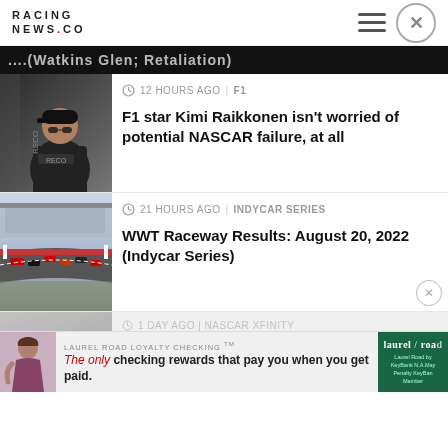RACING NEWS.CO
[Figure (screenshot): Partially visible dark banner with white text reading partial article title]
12 HOURS AGO | F1
[Figure (photo): Racing driver Kimi Raikkonen wearing cap and sunglasses, in black racing suit with RECO logo]
F1 star Kimi Raikkonen isn't worried of potential NASCAR failure, at all
21 HOURS AGO | INDYCAR SERIES
[Figure (photo): Racing cars on track at WWT Raceway, aerial view with grandstands and multiple cars in formation]
WWT Raceway Results: August 20, 2022 (Indycar Series)
1 DAY AGO | NASCAR XFINITY
Watkins Glen; Retaliation (Video)
[Figure (infographic): Advertisement for Laurel Road Loyalty Checking showing woman and Laurel Road bank logo with text: LAUREL ROAD LOYALTY CHECKING TM - The only checking rewards that pay you when you get paid.]